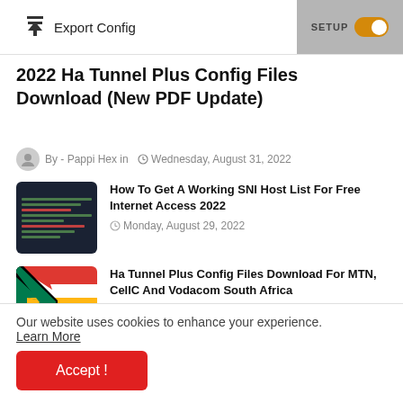Export Config | SETUP
2022 Ha Tunnel Plus Config Files Download (New PDF Update)
By - Pappi Hex in  Wednesday, August 31, 2022
[Figure (screenshot): Dark background code/terminal screenshot for SNI Host List article]
How To Get A Working SNI Host List For Free Internet Access 2022
Monday, August 29, 2022
[Figure (photo): South Africa flag thumbnail]
Ha Tunnel Plus Config Files Download For MTN, CellC And Vodacom South Africa
Wednesday, August 31, 2022
Our website uses cookies to enhance your experience.
Learn More
Accept !